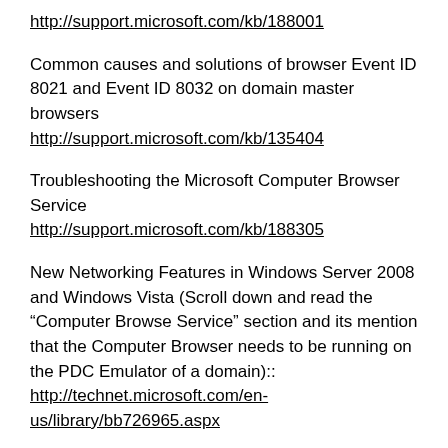http://support.microsoft.com/kb/188001
Common causes and solutions of browser Event ID 8021 and Event ID 8032 on domain master browsers
http://support.microsoft.com/kb/135404
Troubleshooting the Microsoft Computer Browser Service
http://support.microsoft.com/kb/188305
New Networking Features in Windows Server 2008 and Windows Vista (Scroll down and read the “Computer Browse Service” section and its mention that the Computer Browser needs to be running on the PDC Emulator of a domain)::
http://technet.microsoft.com/en-us/library/bb726965.aspx
Windows 2008 – Appendix C – Computer Browser